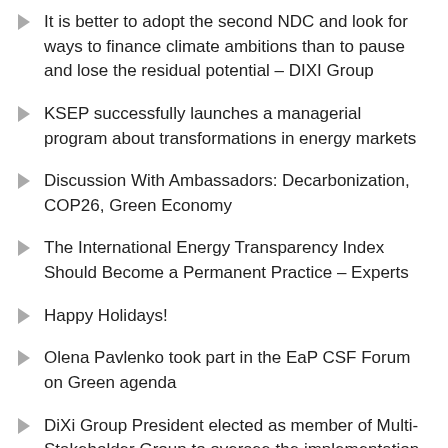It is better to adopt the second NDC and look for ways to finance climate ambitions than to pause and lose the residual potential – DIXI Group
KSEP successfully launches a managerial program about transformations in energy markets
Discussion With Ambassadors: Decarbonization, COP26, Green Economy
The International Energy Transparency Index Should Become a Permanent Practice – Experts
Happy Holidays!
Olena Pavlenko took part in the EaP CSF Forum on Green agenda
DiXi Group President elected as member of Multi-Stakeholder Group to oversee the implementation of the EITI
Most of the strategies for the coal industry have not